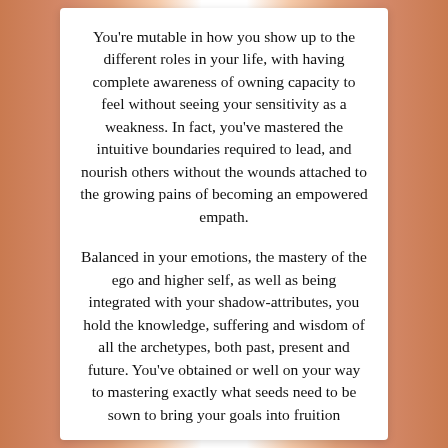You're mutable in how you show up to the different roles in your life, with having complete awareness of owning capacity to feel without seeing your sensitivity as a weakness. In fact, you've mastered the intuitive boundaries required to lead, and nourish others without the wounds attached to the growing pains of becoming an empowered empath.
Balanced in your emotions, the mastery of the ego and higher self, as well as being integrated with your shadow-attributes, you hold the knowledge, suffering and wisdom of all the archetypes, both past, present and future. You've obtained or well on your way to mastering exactly what seeds need to be sown to bring your goals into fruition